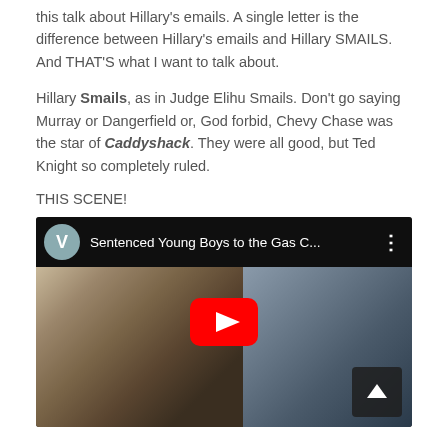this talk about Hillary's emails. A single letter is the difference between Hillary's emails and Hillary SMAILS. And THAT'S what I want to talk about.
Hillary Smails, as in Judge Elihu Smails. Don't go saying Murray or Dangerfield or, God forbid, Chevy Chase was the star of Caddyshack. They were all good, but Ted Knight so completely ruled.
THIS SCENE!
[Figure (screenshot): YouTube video embed showing a scene from Caddyshack. Video title reads 'Sentenced Young Boys to the Gas C...' with a channel avatar showing 'V'. A red YouTube play button is shown in the center. A scroll-up arrow button is in the bottom right corner.]